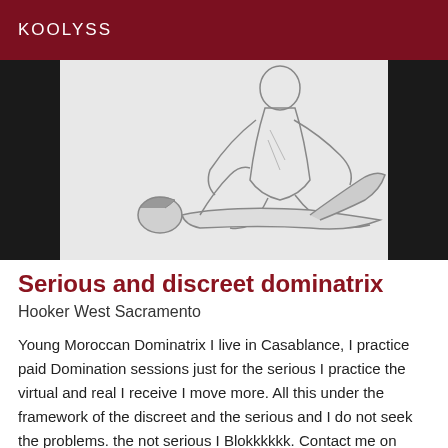KOOLYSS
[Figure (illustration): A sketched illustration of two figures in an intimate pose, drawn in grayscale pencil/ink style on a white background, framed with dark borders.]
Serious and discreet dominatrix
Hooker West Sacramento
Young Moroccan Dominatrix I live in Casablance, I practice paid Domination sessions just for the serious I practice the virtual and real I receive I move more. All this under the framework of the discreet and the serious and I do not seek the problems. the not serious I Blokkkkkk. Contact me on whtsap